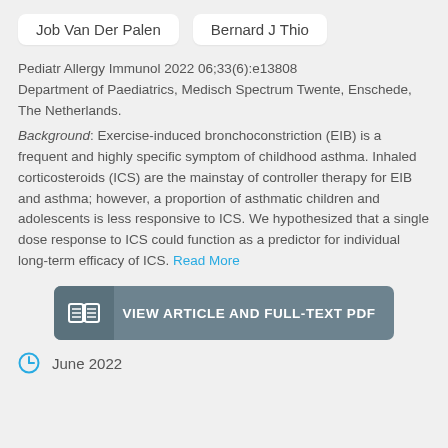Job Van Der Palen   Bernard J Thio
Pediatr Allergy Immunol 2022 06;33(6):e13808
Department of Paediatrics, Medisch Spectrum Twente, Enschede, The Netherlands.
Background: Exercise-induced bronchoconstriction (EIB) is a frequent and highly specific symptom of childhood asthma. Inhaled corticosteroids (ICS) are the mainstay of controller therapy for EIB and asthma; however, a proportion of asthmatic children and adolescents is less responsive to ICS. We hypothesized that a single dose response to ICS could function as a predictor for individual long-term efficacy of ICS. Read More
VIEW ARTICLE AND FULL-TEXT PDF
June 2022